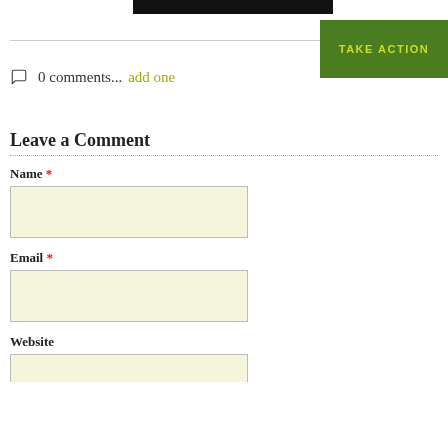[Figure (photo): Dark image bar at top of page]
[Figure (other): Green 'TAKE ACTION' button in upper right]
0 comments... add one
Leave a Comment
Name *
Email *
Website